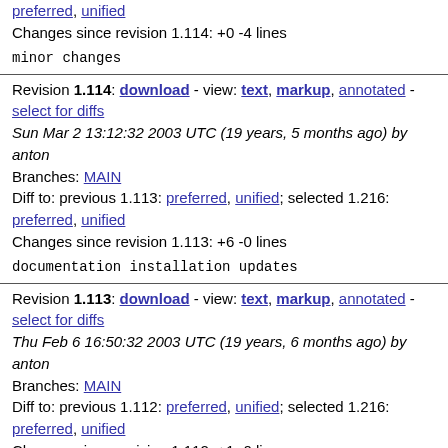preferred, unified
Changes since revision 1.114: +0 -4 lines
minor changes
Revision 1.114: download - view: text, markup, annotated - select for diffs
Sun Mar 2 13:12:32 2003 UTC (19 years, 5 months ago) by anton
Branches: MAIN
Diff to: previous 1.113: preferred, unified; selected 1.216: preferred, unified
Changes since revision 1.113: +6 -0 lines
documentation installation updates
Revision 1.113: download - view: text, markup, annotated - select for diffs
Thu Feb 6 16:50:32 2003 UTC (19 years, 6 months ago) by anton
Branches: MAIN
Diff to: previous 1.112: preferred, unified; selected 1.216: preferred, unified
Changes since revision 1.112: +1 -0 lines
minor fixes
Revision 1.112: download - view: text, markup, annotated -